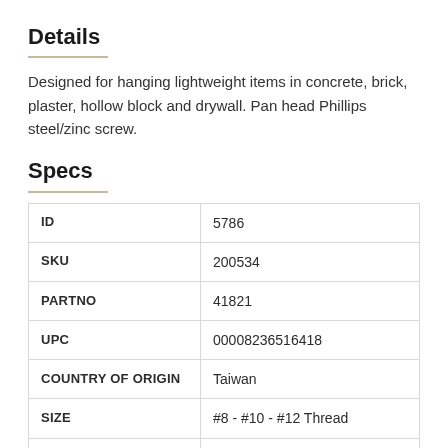Details
Designed for hanging lightweight items in concrete, brick, plaster, hollow block and drywall. Pan head Phillips steel/zinc screw.
Specs
|  |  |
| --- | --- |
| ID | 5786 |
| SKU | 200534 |
| PARTNO | 41821 |
| UPC | 00008236516418 |
| COUNTRY OF ORIGIN | Taiwan |
| SIZE | #8 - #10 - #12 Thread |
| LENGTH | 1-1/4 In. |
| MATERIAL | Plastic |
| COLOR | Blue |